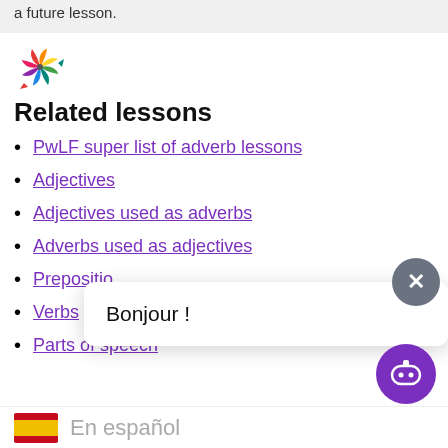a future lesson.
[Figure (illustration): Colorful pinwheel/spinner decorative icon]
Related lessons
PwLF super list of adverb lessons
Adjectives
Adjectives used as adverbs
Adverbs used as adjectives
Prepositions
Verbs
Parts of speech
En español